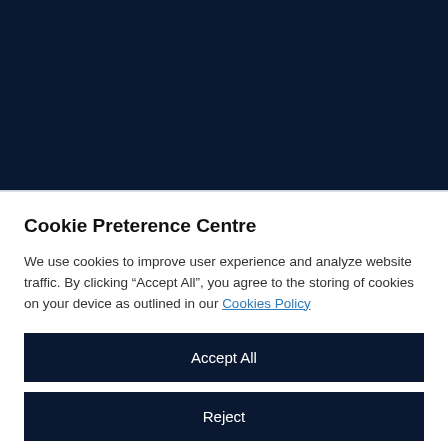[Figure (screenshot): Dark navy blue background area representing a website header/content area]
Cookie Preterence Centre
We use cookies to improve user experience and analyze website traffic. By clicking “Accept All”, you agree to the storing of cookies on your device as outlined in our Cookies Policy
Accept All
Reject
Cookies Settings